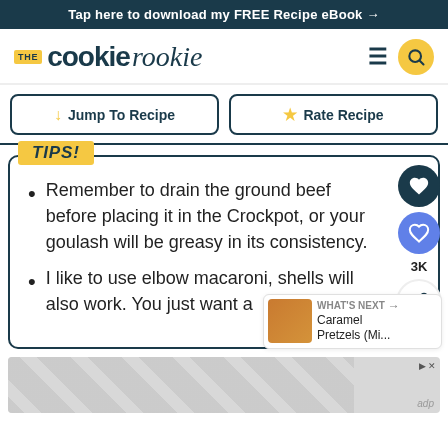Tap here to download my FREE Recipe eBook →
[Figure (logo): The Cookie Rookie logo with hamburger menu and search icon]
Jump To Recipe
Rate Recipe
TIPS!
Remember to drain the ground beef before placing it in the Crockpot, or your goulash will be greasy in its consistency.
I like to use elbow macaroni, shells will also work. You just want a
[Figure (infographic): What's Next panel showing Caramel Pretzels (Mi...)]
[Figure (other): Advertisement banner with geometric tile pattern]